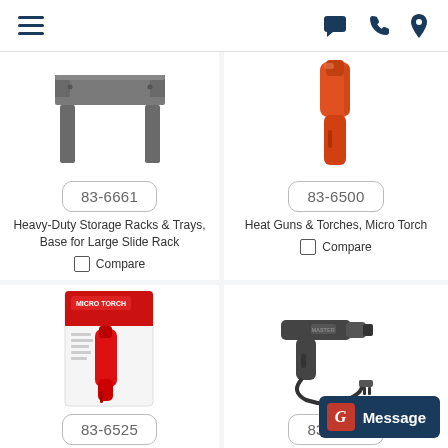Navigation header with hamburger menu, message, phone, and location icons
[Figure (photo): Gray metal table/base structure for large slide rack]
83-6661
Heavy-Duty Storage Racks & Trays, Base for Large Slide Rack
Compare
[Figure (photo): Orange micro torch / heat gun tool]
83-6500
Heat Guns & Torches, Micro Torch
Compare
[Figure (photo): Red micro torch in retail packaging]
83-6525
[Figure (photo): Black heat gun with cord]
83-6501
Message